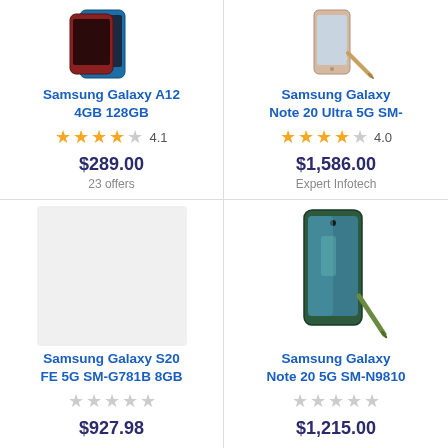[Figure (photo): Samsung Galaxy A12 phone product image, blue/teal color]
Samsung Galaxy A12 4GB 128GB
★★★★☆ 4.1
$289.00
23 offers
[Figure (photo): Samsung Galaxy Note 20 Ultra 5G SM- product image with S Pen]
Samsung Galaxy Note 20 Ultra 5G SM-
★★★★☆ 4.0
$1,586.00
Expert Infotech
[Figure (photo): Samsung Galaxy S20 FE 5G SM-G781B 8GB - placeholder image]
Samsung Galaxy S20 FE 5G SM-G781B 8GB
☆☆☆☆☆
$927.98
[Figure (photo): Samsung Galaxy Note 20 5G SM-N9810 with S Pen in green/teal]
Samsung Galaxy Note 20 5G SM-N9810
☆☆☆☆☆
$1,215.00